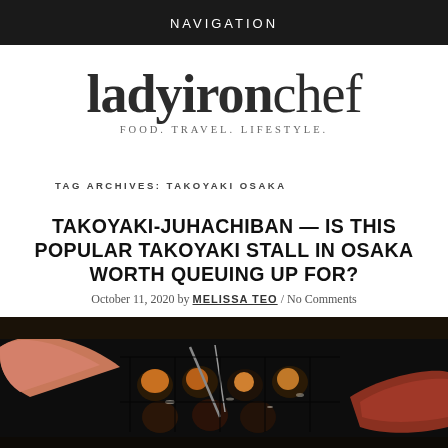NAVIGATION
ladyironchef FOOD. TRAVEL. LIFESTYLE.
TAG ARCHIVES: TAKOYAKI OSAKA
TAKOYAKI-JUHACHIBAN — IS THIS POPULAR TAKOYAKI STALL IN OSAKA WORTH QUEUING UP FOR?
October 11, 2020 by MELISSA TEO / No Comments
[Figure (photo): Close-up photo of hands cooking takoyaki on a cast iron grill plate with multiple round molds]